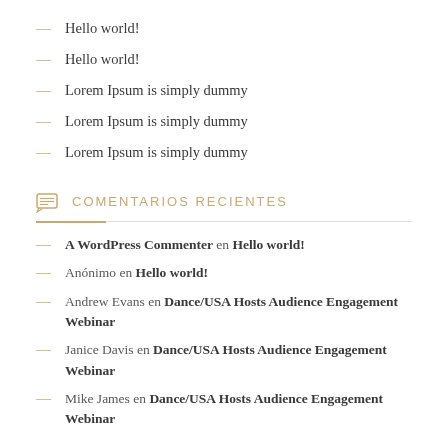— Hello world!
— Hello world!
— Lorem Ipsum is simply dummy
— Lorem Ipsum is simply dummy
— Lorem Ipsum is simply dummy
COMENTARIOS RECIENTES
— A WordPress Commenter en Hello world!
— Anónimo en Hello world!
— Andrew Evans en Dance/USA Hosts Audience Engagement Webinar
— Janice Davis en Dance/USA Hosts Audience Engagement Webinar
— Mike James en Dance/USA Hosts Audience Engagement Webinar
ARCHIVOS